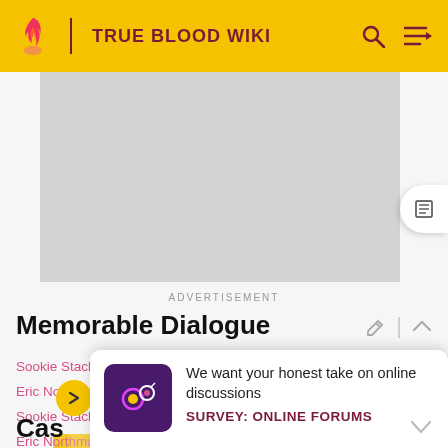TRUE BLOOD WIKI
[Figure (screenshot): Advertisement placeholder — grey rectangle]
ADVERTISEMENT
Memorable Dialogue
Sookie Stackhouse: "He's your maker, isn't he?"
Eric Northman: "Don't use words you don't understand."
Sookie Stackhouse: "You have a lot of love for him."
Eric Northman: "Really no words I don't understand."
We want your honest take on online discussions
SURVEY: ONLINE FORUMS